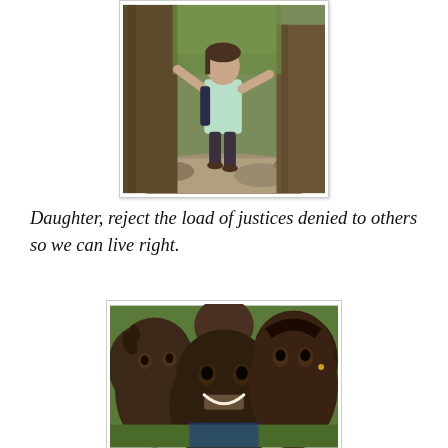[Figure (photo): A girl in a light green top posing between large tree trunks on a rocky trail in a forest setting, arms raised.]
Daughter, reject the load of justices denied to others so we can live right.
[Figure (photo): Close-up of several African children looking at the camera, smiling. The child in the center foreground is bald and grinning broadly.]